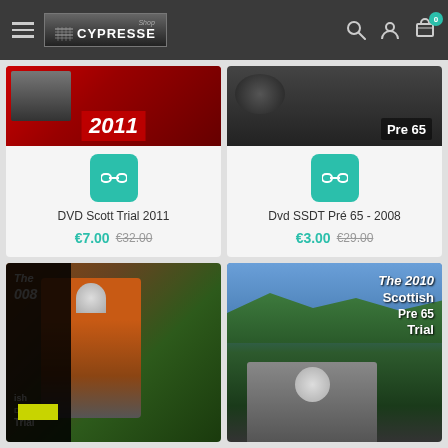[Figure (screenshot): Website header with hamburger menu, Shop Cypresse logo, search icon, user icon, and cart icon with badge showing 0]
[Figure (screenshot): Product card: DVD Scott Trial 2011, link icon, price €7.00 (original €32.00)]
DVD Scott Trial 2011
€7.00 €32.00
[Figure (screenshot): Product card: Dvd SSDT Pré 65 - 2008, link icon, price €3.00 (original €29.00)]
Dvd SSDT Pré 65 - 2008
€3.00 €29.00
[Figure (photo): Partial product image showing motorcycle trial rider with text 'The 2008 Scottish Days Trial']
[Figure (photo): Partial product image showing 'The 2010 Scottish Pre 65 Trial' with landscape background]